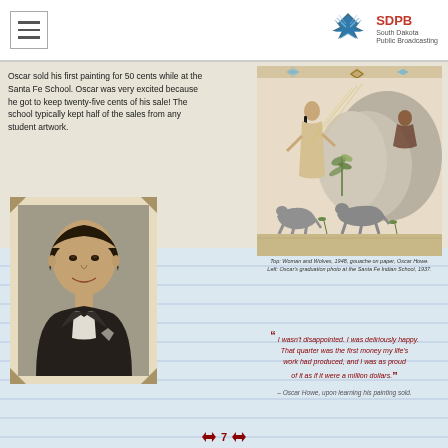SDPB South Dakota Public Broadcasting
Oscar sold his first painting for 50 cents while at the Santa Fe School. Oscar was very excited because he got to keep twenty-five cents of his sale! The school typically kept half of the sales from any student artwork.
[Figure (illustration): Native American artwork showing figures with dogs and plants, titled 'Woman and Wolves, 1948, gouache on paper, Oscar Howe']
Top: Woman and Wolves, 1948, gouache on paper, Oscar Howe. Left: Oscar's graduation photo at the Santa Fe Indian School, 1937.
[Figure (photo): Black and white graduation portrait photo of Oscar Howe in a tuxedo]
“ I wasn't disappointed. I was deliriously happy. That quarter was the first money my life's work had produced, and I was as proud of it as if it were a million dollars.”
– Oscar Howe, upon learning his painting sold.
7